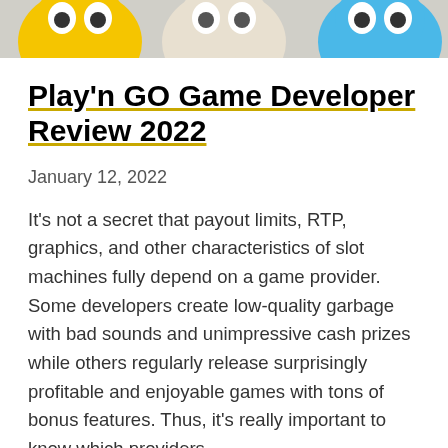[Figure (photo): Top banner image showing animated cartoon characters with yellow and blue colors, partially cropped at the top of the page.]
Play'n GO Game Developer Review 2022
January 12, 2022
It's not a secret that payout limits, RTP, graphics, and other characteristics of slot machines fully depend on a game provider. Some developers create low-quality garbage with bad sounds and unimpressive cash prizes while others regularly release surprisingly profitable and enjoyable games with tons of bonus features. Thus, it's really important to know which providers